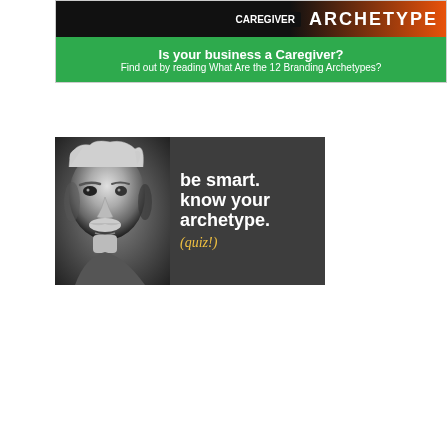[Figure (illustration): Top banner ad with black and orange header showing 'ARCHETYPE' text and green lower section reading 'Is your business a Caregiver? Find out by reading What Are the 12 Branding Archetypes?']
[Figure (illustration): Banner ad showing a black and white photo of Albert Einstein on the left and dark grey background on the right with white text 'be smart. know your archetype.' and yellow italic text '(quiz!)']